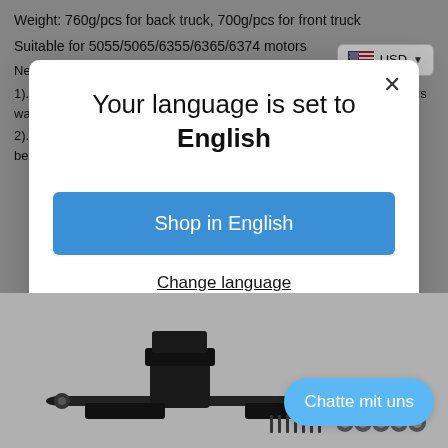Weight: 760g/pcs for back truck, 700g/pcs for front truck
Suitable for 5055/5065/6355/6365/6374 motors
New Gravity Casting Technology:
1). Aluminum liquid flow into truck mould by liquid's weight naturally, this way can delete mould's inside air clearly.
2). do heat treatment after demoulding (truck surface is a little rough because of heat
Your language is set to English
Shop in English
Change language
[Figure (screenshot): Skateboard truck product image with screws and bearings shown below the modal dialog]
Chatte mit uns